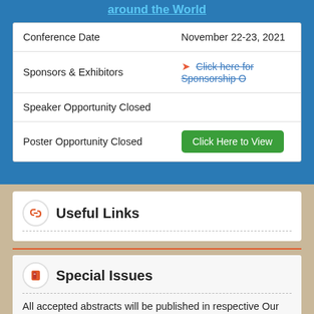around the World
|  |  |
| --- | --- |
| Conference Date | November 22-23, 2021 |
| Sponsors & Exhibitors | Click here for Sponsorship O |
| Speaker Opportunity Closed |  |
| Poster Opportunity Closed | Click Here to View |
Useful Links
Special Issues
All accepted abstracts will be published in respective Our International Journals.
Journal of Clinical & Experimental Cardiology
Journal of Cardiovascular Diseases & Diagnosis
Journal of Interventional and General Cardiology